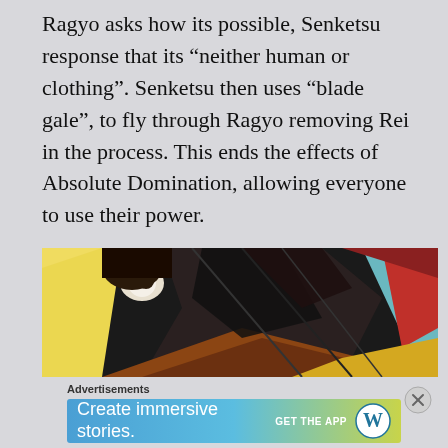Ragyo asks how its possible, Senketsu response that its “neither human or clothing”. Senketsu then uses “blade gale”, to fly through Ragyo removing Rei in the process. This ends the effects of Absolute Domination, allowing everyone to use their power.
[Figure (illustration): Anime screenshot showing a character in dark angular clothing/armor flying through the air, with yellow light on the left side and red/teal colors in the background.]
Advertisements
[Figure (screenshot): WordPress advertisement banner with blue-green gradient background reading 'Create immersive stories. GET THE APP' with WordPress logo.]